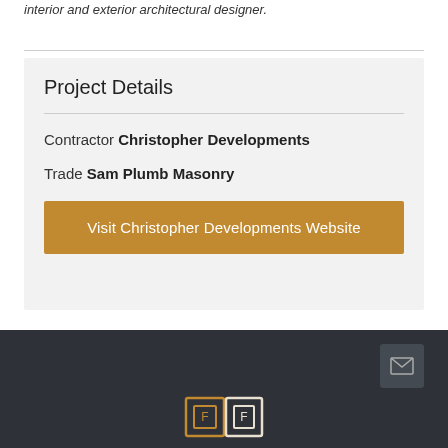interior and exterior architectural designer.
Project Details
Contractor Christopher Developments
Trade Sam Plumb Masonry
Visit Christopher Developments Website